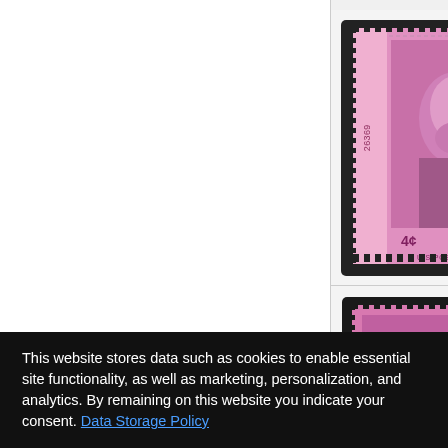[Figure (photo): US postage stamp - 4 cent Lincoln, pink/magenta with plate number 26369, perforated, mint condition. Row 1.]
95
Mint
OGnh
Scot
Selle
[Figure (photo): US postage stamp - 4 cent Lincoln, pink/magenta, perforated, no plate number. Row 2.]
98
Mint
OGnh
Scot
Selle
[Figure (photo): US postage stamp - The Heritage, teal/green color. Partially visible row 3.]
Scot
This website stores data such as cookies to enable essential site functionality, as well as marketing, personalization, and analytics. By remaining on this website you indicate your consent. Data Storage Policy